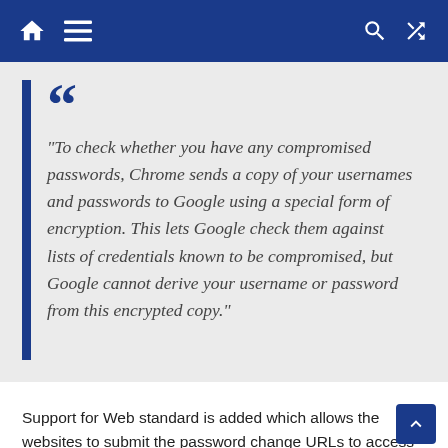Navigation bar with home, menu, search, and shuffle icons
“To check whether you have any compromised passwords, Chrome sends a copy of your usernames and passwords to Google using a special form of encryption. This lets Google check them against lists of credentials known to be compromised, but Google cannot derive your username or password from this encrypted copy.”
Support for Web standard is added which allows the websites to submit the password change URLs to access it easily. This feature will allow Chrome to take users directly to the webpage to change